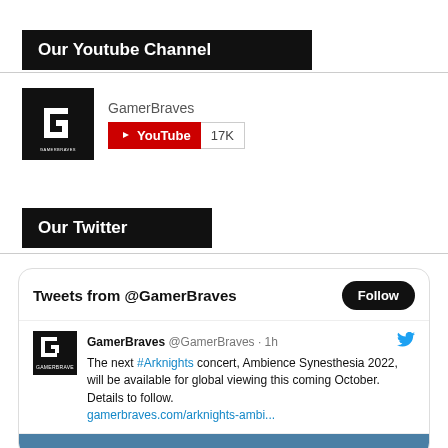Our Youtube Channel
[Figure (screenshot): GamerBraves YouTube channel widget showing channel logo (black square with G icon), channel name 'GamerBraves', YouTube subscribe button in red with play icon, and subscriber count '17K']
Our Twitter
[Figure (screenshot): Twitter widget showing 'Tweets from @GamerBraves' header with Follow button, then a tweet from GamerBraves @GamerBraves 1h ago: 'The next #Arknights concert, Ambience Synesthesia 2022, will be available for global viewing this coming October. Details to follow. gamerbraves.com/arknights-ambi...' with Twitter bird logo and a blue footer bar.]